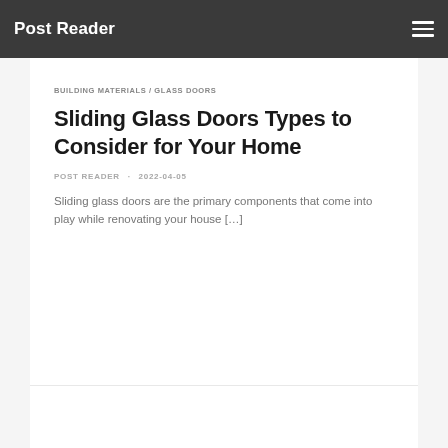Post Reader
BUILDING MATERIALS / GLASS DOORS
Sliding Glass Doors Types to Consider for Your Home
POST READER · 2022-04-05
Sliding glass doors are the primary components that come into play while renovating your house […]